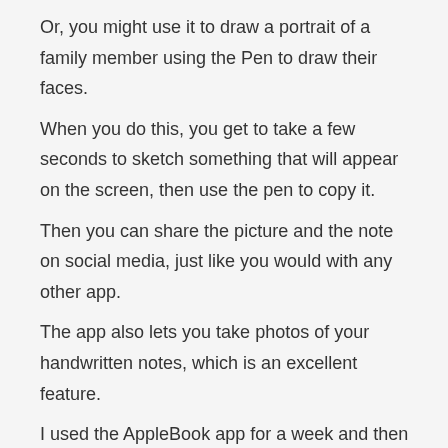Or, you might use it to draw a portrait of a family member using the Pen to draw their faces.
When you do this, you get to take a few seconds to sketch something that will appear on the screen, then use the pen to copy it.
Then you can share the picture and the note on social media, just like you would with any other app.
The app also lets you take photos of your handwritten notes, which is an excellent feature.
I used the AppleBook app for a week and then